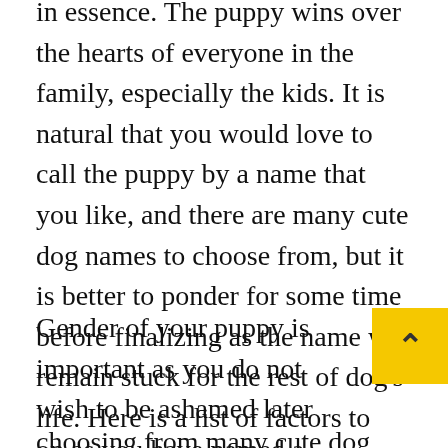in essence. The puppy wins over the hearts of everyone in the family, especially the kids. It is natural that you would love to call the puppy by a name that you like, and there are many cute dog names to choose from, but it is better to ponder for some time before finalizing as the name will remain stuck for the rest of dog’s life. Here is a list of factors to keep in mind when looking for cute dog names.
Gender of your puppy is important as you do not wish to be ashamed later on as you have named a male puppy with a girlish name. It is better to check on the sex of the puppy before choosing from many cute dog names that are